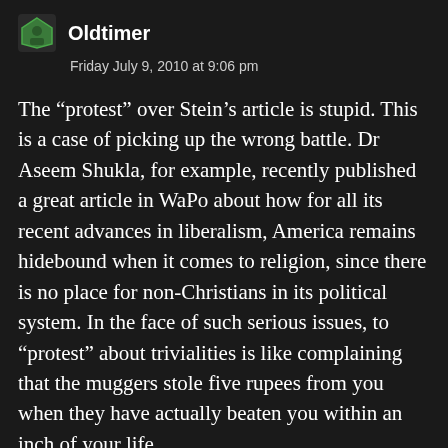Oldtimer
Friday July 9, 2010 at 9:06 pm
The “protest” over Stein’s article is stupid. This is a case of picking up the wrong battle. Dr Aseem Shukla, for example, recently published a great article in WaPo about how for all its recent advances in liberalism, America remains hidebound when it comes to religion, since there is no place for non-Christians in its political system. In the face of such serious issues, to “protest” about trivialities is like complaining that the muggers stole five rupees from you when they have actually beaten you within an inch of your life.